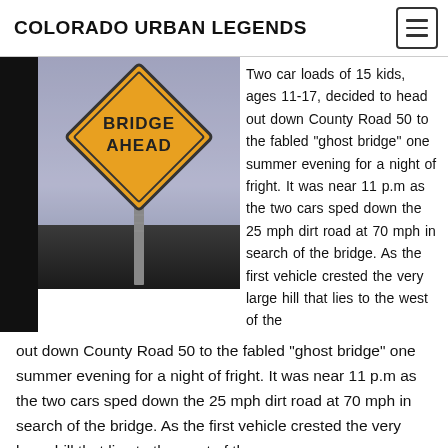COLORADO URBAN LEGENDS
[Figure (photo): A yellow diamond-shaped road sign reading 'BRIDGE AHEAD' on a pole against a dusk sky with a dark landscape horizon.]
Two car loads of 15 kids, ages 11-17, decided to head out down County Road 50 to the fabled “ghost bridge” one summer evening for a night of fright. It was near 11 p.m as the two cars sped down the 25 mph dirt road at 70 mph in search of the bridge. As the first vehicle crested the very large hill that lies to the west of the